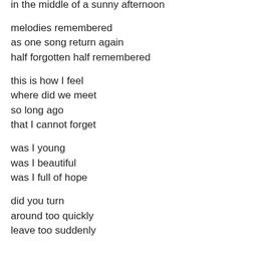in the middle of a sunny afternoon
melodies remembered
as one song return again
half forgotten half remembered
this is how I feel
where did we meet
so long ago
that I cannot forget
was I young
was I beautiful
was I full of hope
did you turn
around too quickly
leave too suddenly